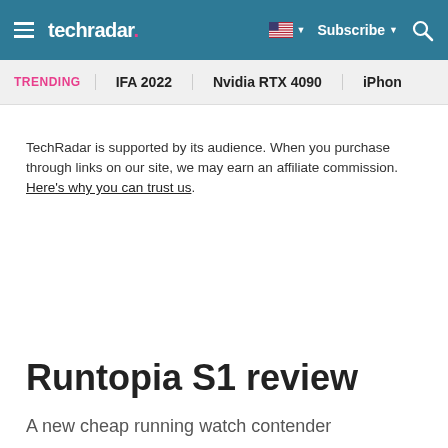techradar — Subscribe
TRENDING   IFA 2022   Nvidia RTX 4090   iPhon
TechRadar is supported by its audience. When you purchase through links on our site, we may earn an affiliate commission. Here's why you can trust us.
Runtopia S1 review
A new cheap running watch contender